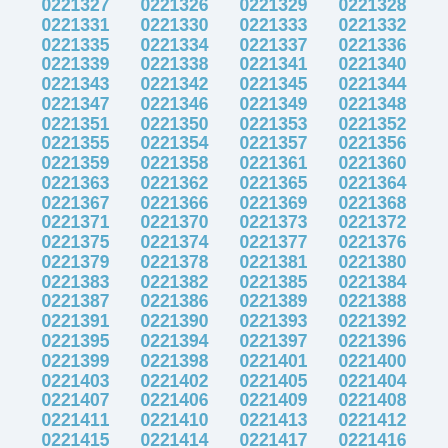0221327 0221326 0221329 0221328
0221331 0221330 0221333 0221332
0221335 0221334 0221337 0221336
0221339 0221338 0221341 0221340
0221343 0221342 0221345 0221344
0221347 0221346 0221349 0221348
0221351 0221350 0221353 0221352
0221355 0221354 0221357 0221356
0221359 0221358 0221361 0221360
0221363 0221362 0221365 0221364
0221367 0221366 0221369 0221368
0221371 0221370 0221373 0221372
0221375 0221374 0221377 0221376
0221379 0221378 0221381 0221380
0221383 0221382 0221385 0221384
0221387 0221386 0221389 0221388
0221391 0221390 0221393 0221392
0221395 0221394 0221397 0221396
0221399 0221398 0221401 0221400
0221403 0221402 0221405 0221404
0221407 0221406 0221409 0221408
0221411 0221410 0221413 0221412
0221415 0221414 0221417 0221416
0221419 0221418 0221421 0221420
0221423 0221422 0221425 0221424
0221427 0221426 0221429 0221428
0221431 0221430 0221433 0221432
0221435 0221434 0221437 0221436
0221439 0221438 0221441 0221440